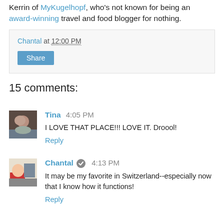Kerrin of MyKugelhopf, who's not known for being an award-winning travel and food blogger for nothing.
Chantal at 12:00 PM
Share
15 comments:
Tina 4:05 PM
I LOVE THAT PLACE!!! LOVE IT. Droool!
Reply
Chantal 4:13 PM
It may be my favorite in Switzerland--especially now that I know how it functions!
Reply